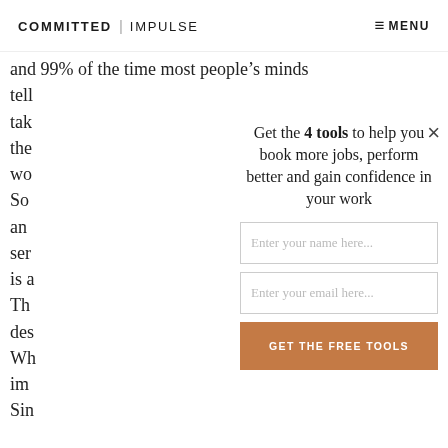COMMITTED | IMPULSE    ≡ MENU
and 99% of the time most people's minds
tell
take
the
wo
So
and
sen
is a
Th
des
Wh
im
Sin
Get the 4 tools to help you book more jobs, perform better and gain confidence in your work
Enter your name here...
Enter your email here...
GET THE FREE TOOLS